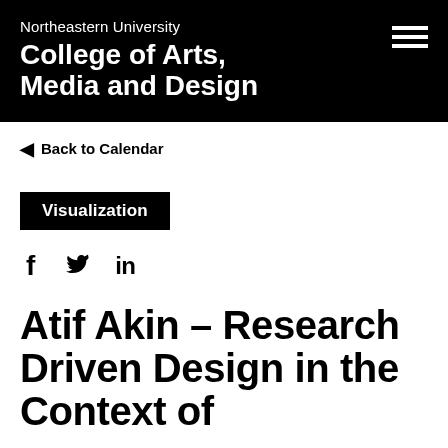Northeastern University College of Arts, Media and Design
Back to Calendar
Visualization
Atif Akin – Research Driven Design in the Context of